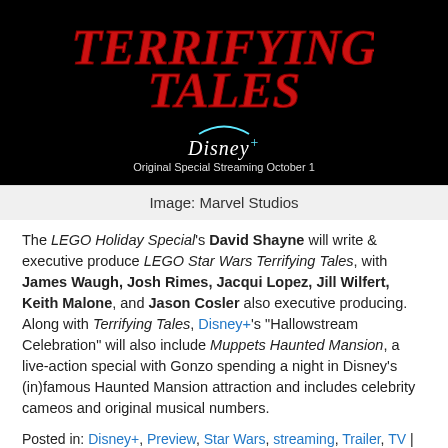[Figure (photo): Promotional image for LEGO Star Wars Terrifying Tales showing the title in red horror-style font on a black background, with Disney+ logo and text 'Original Special Streaming October 1']
Image: Marvel Studios
The LEGO Holiday Special's David Shayne will write & executive produce LEGO Star Wars Terrifying Tales, with James Waugh, Josh Rimes, Jacqui Lopez, Jill Wilfert, Keith Malone, and Jason Cosler also executive producing. Along with Terrifying Tales, Disney+'s "Hallowstream Celebration" will also include Muppets Haunted Mansion, a live-action special with Gonzo spending a night in Disney's (in)famous Haunted Mansion attraction and includes celebrity cameos and original musical numbers.
Posted in: Disney+, Preview, Star Wars, streaming, Trailer, TV | Tagged: disney plus, halloween, lego, lucasfilm,